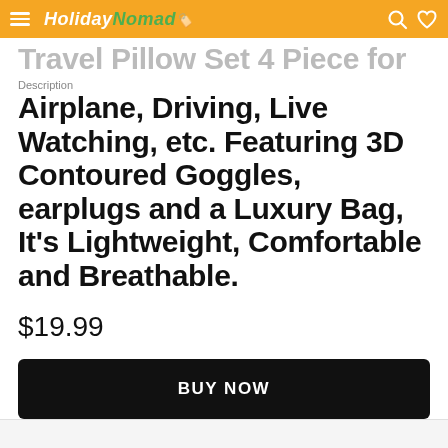HolidayNomad
Description
Travel Pillow Set 4 Piece for Airplane, Driving, Live Watching, etc. Featuring 3D Contoured Goggles, earplugs and a Luxury Bag, It's Lightweight, Comfortable and Breathable.
$19.99
BUY NOW